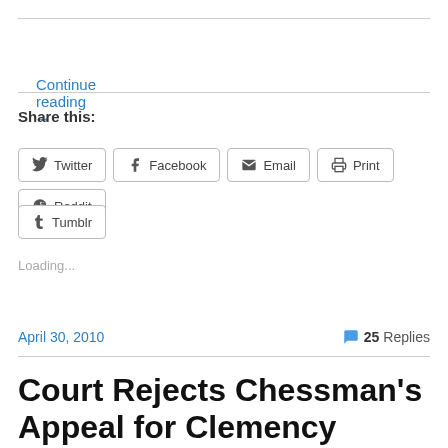Continue reading →
Share this:
Twitter  Facebook  Email  Print  Reddit  Tumblr
Loading...
April 30, 2010
25 Replies
Court Rejects Chessman's Appeal for Clemency